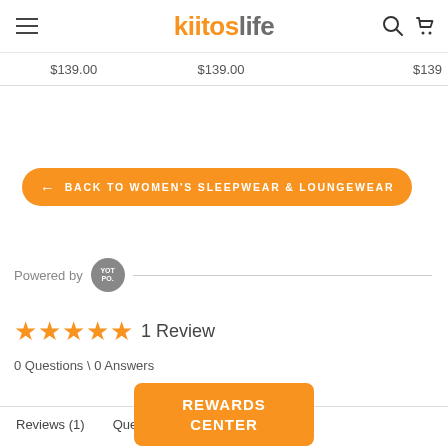kitroslife — navigation header with menu, logo, search and cart icons
$139.00   $139.00   $139...
← BACK TO WOMEN'S SLEEPWEAR & LOUNGEWEAR
Powered by YOTPO
★★★★★  1 Review
0 Questions \ 0 Answers
Reviews (1)   Questions
REWARDS CENTER